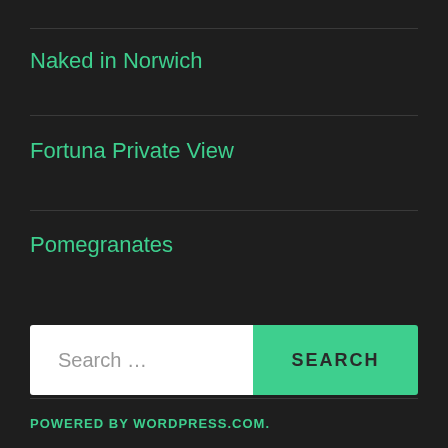Naked in Norwich
Fortuna Private View
Pomegranates
[Figure (screenshot): Search bar with white input field showing placeholder text 'Search ...' and a green button labeled 'SEARCH']
POWERED BY WORDPRESS.COM.